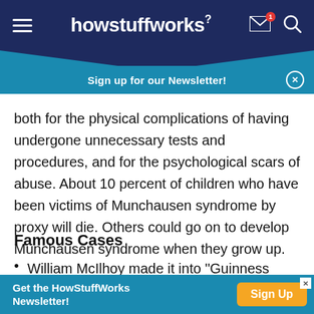howstuffworks
Sign up for our Newsletter!
both for the physical complications of having undergone unnecessary tests and procedures, and for the psychological scars of abuse. About 10 percent of children who have been victims of Munchausen syndrome by proxy will die. Others could go on to develop Munchausen syndrome when they grow up.
Famous Cases
William McIlhoy made it into "Guinness World
Get the HowStuffWorks Newsletter!